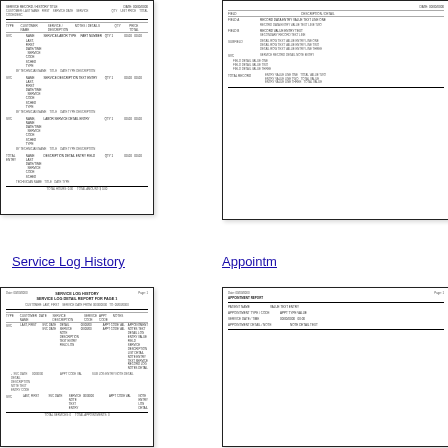[Figure (screenshot): Thumbnail of a document page showing a table with service/appointment records, multiple rows with columns for date, description, service codes, and notes. Top-left position.]
[Figure (screenshot): Thumbnail of a document page showing a table with appointment/service records, partially visible on the right side. Top-right position.]
Service Log History
Appointm...
[Figure (screenshot): Thumbnail of a service log history document page with table showing log entries, service details, dates, and notes. Bottom-left position.]
[Figure (screenshot): Thumbnail of an appointments document page, partially visible. Bottom-right position.]